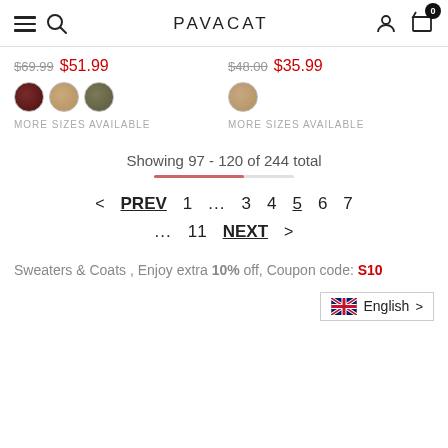PAVACAT
$69.99 $51.99
$48.00 $35.99
MORE SIZES AVAILABLE
MORE SIZES AVAILABLE
Showing 97 - 120 of 244 total
< PREV  1  ...  3  4  5  6  7  ...  11  NEXT >
Sweaters & Coats , Enjoy extra 10% off, Coupon code: S10